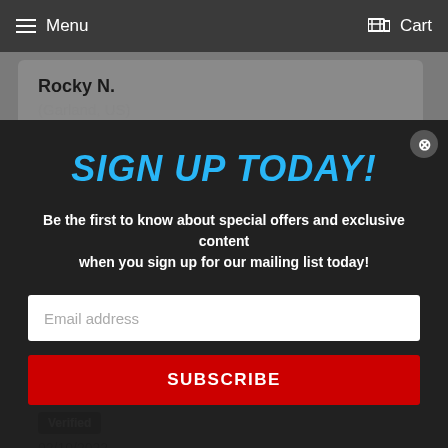Menu  Cart
Rocky N.
(Garland, US)
SIGN UP TODAY!
Be the first to know about special offers and exclusive content when you sign up for our mailing list today!
Email address
SUBSCRIBE
Josh O.
(Meridian, US)
Verified
02/10/2022